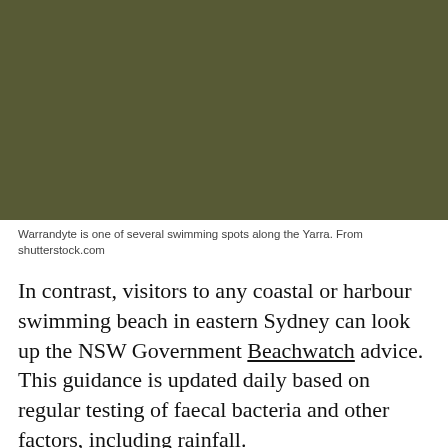[Figure (photo): Dark olive/khaki coloured image, likely a photo of Warrandyte swimming spot along the Yarra River, rendered as a solid dark colour block.]
Warrandyte is one of several swimming spots along the Yarra. From shutterstock.com
In contrast, visitors to any coastal or harbour swimming beach in eastern Sydney can look up the NSW Government Beachwatch advice. This guidance is updated daily based on regular testing of faecal bacteria and other factors, including rainfall.
But in western Sydney, swimmers and other river